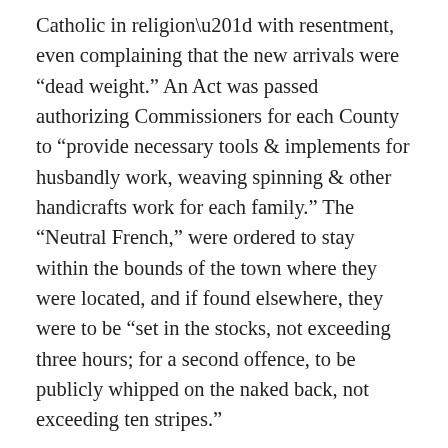Catholic in religion” with resentment, even complaining that the new arrivals were “dead weight.” An Act was passed authorizing Commissioners for each County to “provide necessary tools & implements for husbandly work, weaving spinning & other handicrafts work for each family.” The “Neutral French,” were ordered to stay within the bounds of the town where they were located, and if found elsewhere, they were to be “set in the stocks, not exceeding three hours; for a second offence, to be publicly whipped on the naked back, not exceeding ten stripes.”
On February 9th, 1756, the Landry family arrived in Ipswich. Records indicate they may have been originally assigned to Needham and Waltham. Susanna How of the inn now known as Swasey’s Tavern received them, and at her hostelry, Margaret